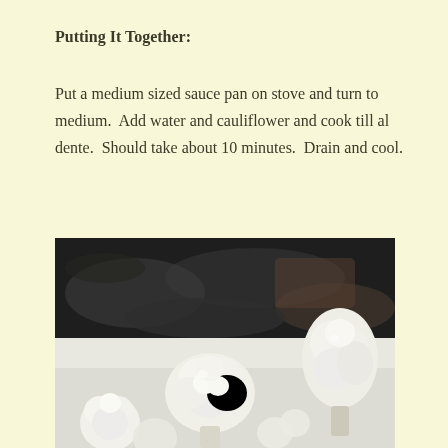Putting It Together:
Put a medium sized sauce pan on stove and turn to medium.  Add water and cauliflower and cook till al dente.  Should take about 10 minutes.  Drain and cool.
[Figure (photo): Close-up photo of white cauliflower florets on a white cutting board, with a dark granite countertop in the background.]